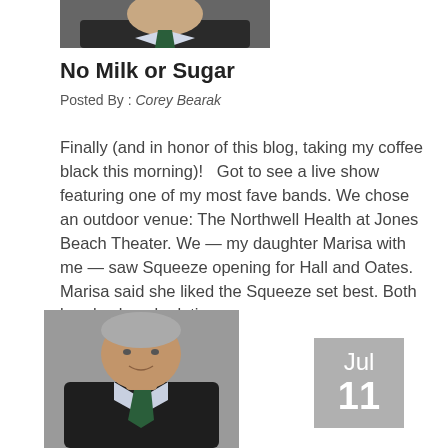[Figure (photo): Partial head-and-shoulders photo of a man in a dark suit with a green tie, cropped at top of page]
No Milk or Sugar
Posted By : Corey Bearak
Finally (and in honor of this blog, taking my coffee black this morning)!   Got to see a live show featuring one of my most fave bands. We chose an outdoor venue: The Northwell Health at Jones Beach Theater. We — my daughter Marisa with me — saw Squeeze opening for Hall and Oates. Marisa said she liked the Squeeze set best. Both bands played relati …
[Figure (photo): Head-and-shoulders photo of an older man with grey hair in a dark suit with a green tie, smiling slightly]
Jul 11